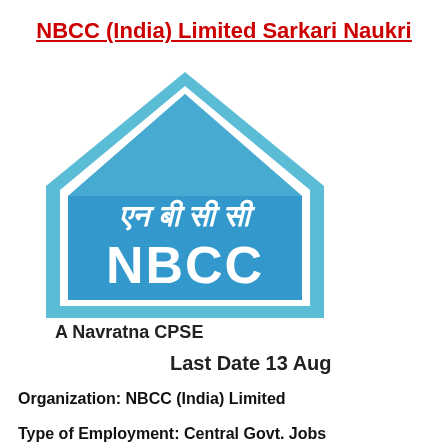NBCC (India) Limited Sarkari Naukri
[Figure (logo): NBCC logo — blue house-shaped pentagon with Hindi text 'एन बी सी सी' and English text 'NBCC' inside on blue background]
A Navratna CPSE
Last Date 13 Aug
Organization: NBCC (India) Limited
Type of Employment: Central Govt. Jobs